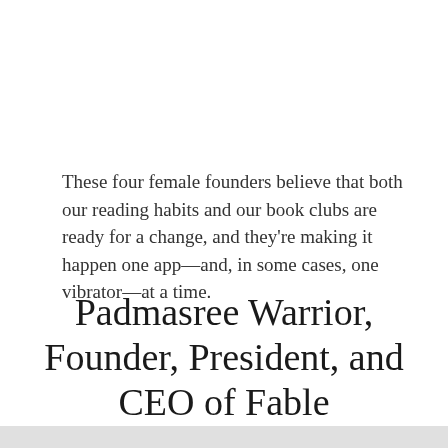These four female founders believe that both our reading habits and our book clubs are ready for a change, and they're making it happen one app—and, in some cases, one vibrator—at a time.
Padmasree Warrior, Founder, President, and CEO of Fable